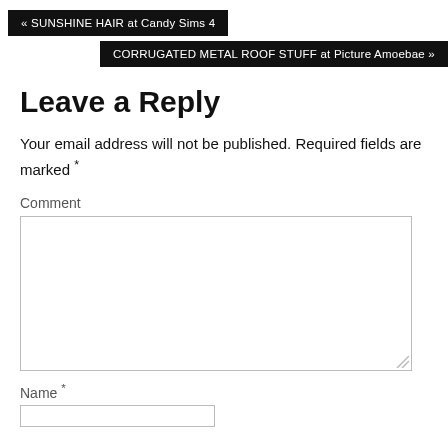« SUNSHINE HAIR at Candy Sims 4
CORRUGATED METAL ROOF STUFF at Picture Amoebae »
Leave a Reply
Your email address will not be published. Required fields are marked *
Comment
Name *